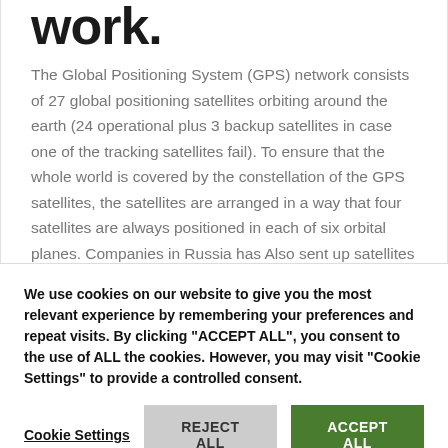work.
The Global Positioning System (GPS) network consists of 27 global positioning satellites orbiting around the earth (24 operational plus 3 backup satellites in case one of the tracking satellites fail). To ensure that the whole world is covered by the constellation of the GPS satellites, the satellites are arranged in a way that four satellites are always positioned in each of six orbital planes. Companies in Russia has Also sent up satellites to do Tracking and their system is called GLONASS, these days most tracking devices can use both systems
We use cookies on our website to give you the most relevant experience by remembering your preferences and repeat visits. By clicking "ACCEPT ALL", you consent to the use of ALL the cookies. However, you may visit "Cookie Settings" to provide a controlled consent.
Cookie Settings | REJECT ALL | ACCEPT ALL